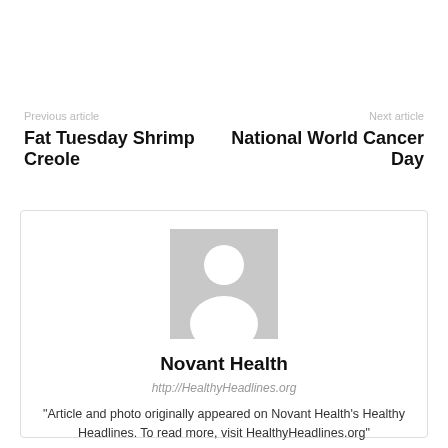Previous article
Fat Tuesday Shrimp Creole
Next article
National World Cancer Day
[Figure (illustration): Generic user avatar placeholder image: gray background with white silhouette of a person]
Novant Health
http://HealthyHeadlines.org
“Article and photo originally appeared on Novant Health’s Healthy Headlines. To read more, visit HealthyHeadlines.org”